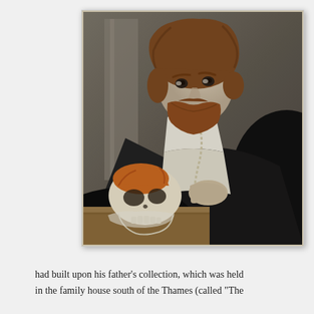[Figure (photo): A classical oil painting portrait of a bearded man with reddish-brown hair, wearing a dark robe with white collar and a chain of pearls or beads. He holds a human skull in his hands, resting on a wooden surface. The background is a muted grey-brown. The painting is displayed in a white frame with a drop shadow.]
had built upon his father's collection, which was held in the family house south of the Thames (called "The